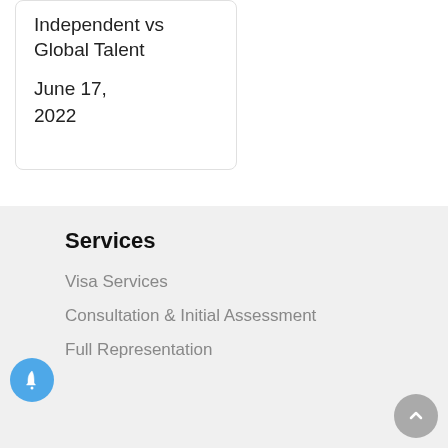Independent vs Global Talent
June 17, 2022
Services
Visa Services
Consultation & Initial Assessment
Full Representation